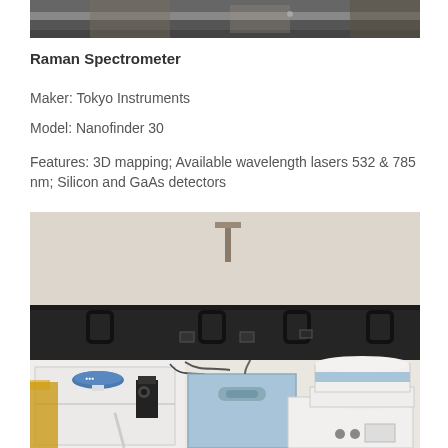[Figure (photo): Partial top image of lab equipment, cropped at top of page]
Raman Spectrometer
Maker: Tokyo Instruments
Model: Nanofinder 30
Features: 3D mapping; Available wavelength lasers 532 & 785 nm; Silicon and GaAs detectors
[Figure (photo): Photo of Raman Spectrometer (Nanofinder 30 by Tokyo Instruments) on a lab bench. The instrument is white and light blue in color, with various components including a blue disc, black bracket mount, a central light-blue box, and a cylindrical white drum on the right. Dark rail storage is visible in the background.]